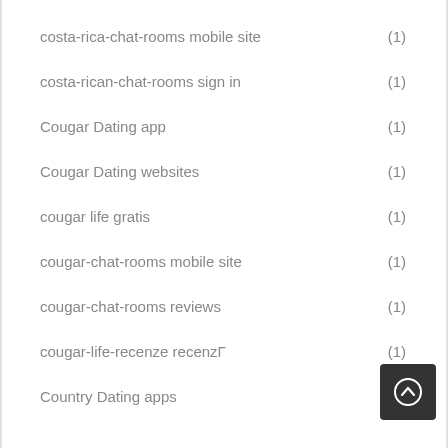costa-rica-chat-rooms mobile site (1)
costa-rican-chat-rooms sign in (1)
Cougar Dating app (1)
Cougar Dating websites (1)
cougar life gratis (1)
cougar-chat-rooms mobile site (1)
cougar-chat-rooms reviews (1)
cougar-life-recenze recenzГ (1)
Country Dating apps (1)